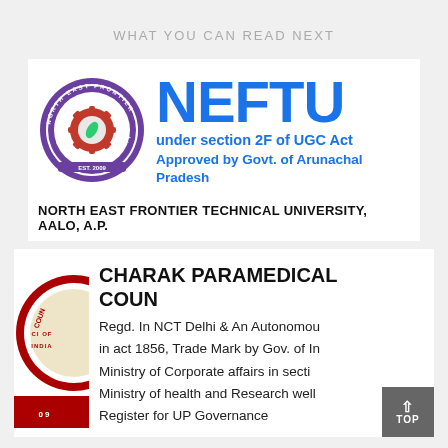WHAT YOU CAN READ NEXT
[Figure (logo): NEFTU logo with circular emblem and large blue NEFTU text, under section 2F of UGC Act, Approved by Govt. of Arunachal Pradesh]
NORTH EAST FRONTIER TECHNICAL UNIVERSITY, AALO, A.P.
[Figure (logo): Charak Paramedical Council logo with circular red emblem. Regd. In NCT Delhi & An Autonomous body in act 1856, Trade Mark by Gov. of India, Ministry of Corporate affairs in section, Ministry of health and Research well, Register for UP Governance]